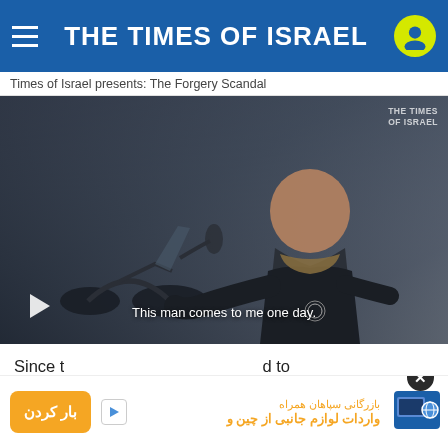THE TIMES OF ISRAEL
Times of Israel presents: The Forgery Scandal
[Figure (screenshot): Video thumbnail showing a man on a motorcycle with subtitle text 'This man comes to me one day.' and a play button in the lower left. Times of Israel watermark top right.]
Since t...d to a prisc...